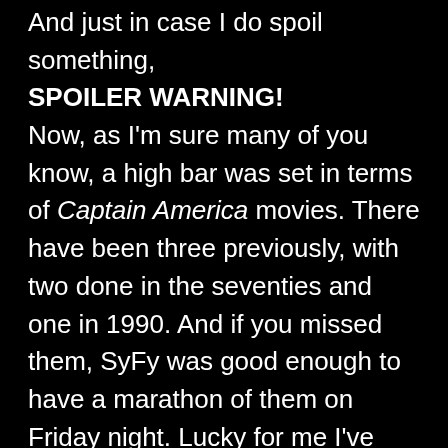And just in case I do spoil something, SPOILER WARNING!
Now, as I'm sure many of you know, a high bar was set in terms of Captain America movies. There have been three previously, with two done in the seventies and one in 1990. And if you missed them, SyFy was good enough to have a marathon of them on Friday night. Lucky for me I've actually already seen the 1990's one and, being a good little nerd girl, I've even seen the Dolph Lungren debacle Punisher movie from around the same time period.